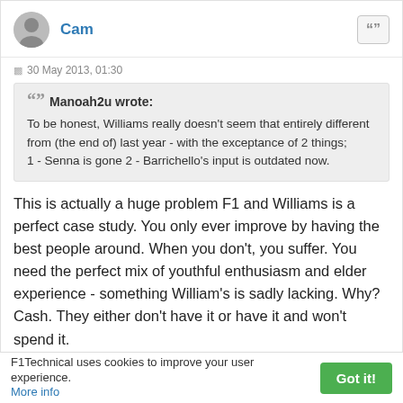Cam
30 May 2013, 01:30
Manoah2u wrote: To be honest, Williams really doesn't seem that entirely different from (the end of) last year - with the exceptance of 2 things; 1 - Senna is gone 2 - Barrichello's input is outdated now.
This is actually a huge problem F1 and Williams is a perfect case study. You only ever improve by having the best people around. When you don't, you suffer. You need the perfect mix of youthful enthusiasm and elder experience - something William's is sadly lacking. Why? Cash. They either don't have it or have it and won't spend it.
F1Technical uses cookies to improve your user experience. More info  Got it!